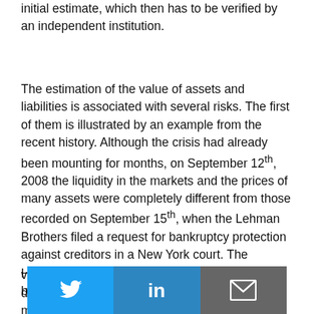initial estimate, which then has to be verified by an independent institution.
The estimation of the value of assets and liabilities is associated with several risks. The first of them is illustrated by an example from the recent history. Although the crisis had already been mounting for months, on September 12th, 2008 the liquidity in the markets and the prices of many assets were completely different from those recorded on September 15th, when the Lehman Brothers filed a request for bankruptcy protection against creditors in a New York court. The valuation from September 12th would be entirely different than the one prepared after the memorable weekend.
However, the esti[mation is per]formed on the basis of current m[arket data, sinc]e we have to
[Figure (infographic): Social sharing buttons bar with Twitter (blue), LinkedIn (dark blue), and email/envelope (grey) icons overlaid on the text]